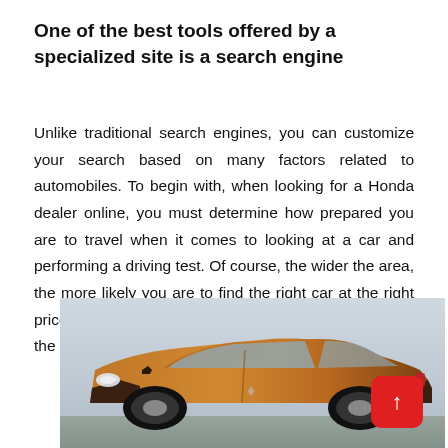One of the best tools offered by a specialized site is a search engine
Unlike traditional search engines, you can customize your search based on many factors related to automobiles. To begin with, when looking for a Honda dealer online, you must determine how prepared you are to travel when it comes to looking at a car and performing a driving test. Of course, the wider the area, the more likely you are to find the right car at the right price, some websites will make it easier by specifying the counties to choose from.
[Figure (photo): Photo of an orange/bronze compact hatchback car (appears to be a Renault Clio or similar) photographed from the front-left angle against a light grey sky background.]